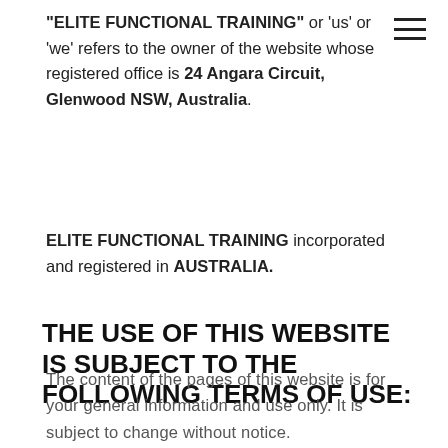"ELITE FUNCTIONAL TRAINING" or 'us' or 'we' refers to the owner of the website whose registered office is 24 Angara Circuit, Glenwood NSW, Australia.
ELITE FUNCTIONAL TRAINING incorporated and registered in AUSTRALIA.
THE USE OF THIS WEBSITE IS SUBJECT TO THE FOLLOWING TERMS OF USE:
The content of the pages of this website is for your general information and use only. It is subject to change without notice.